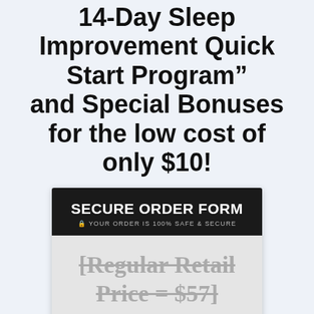14-Day Sleep Improvement Quick Start Program" and Special Bonuses for the low cost of only $10!
[Figure (infographic): Secure Order Form banner with dark background showing 'SECURE ORDER FORM' in bold white text and '🔒 YOUR ORDER IS 100% SAFE & SECURE' in small text below, followed by a light grey order form area showing strikethrough text '[Regular Retail Price = $57]']
[Regular Retail Price = $57]